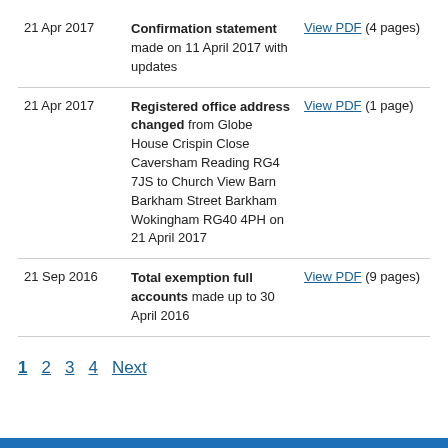| Date | Description | Link |
| --- | --- | --- |
| 21 Apr 2017 | Confirmation statement made on 11 April 2017 with updates | View PDF (4 pages) |
| 21 Apr 2017 | Registered office address changed from Globe House Crispin Close Caversham Reading RG4 7JS to Church View Barn Barkham Street Barkham Wokingham RG40 4PH on 21 April 2017 | View PDF (1 page) |
| 21 Sep 2016 | Total exemption full accounts made up to 30 April 2016 | View PDF (9 pages) |
1 2 3 4 Next